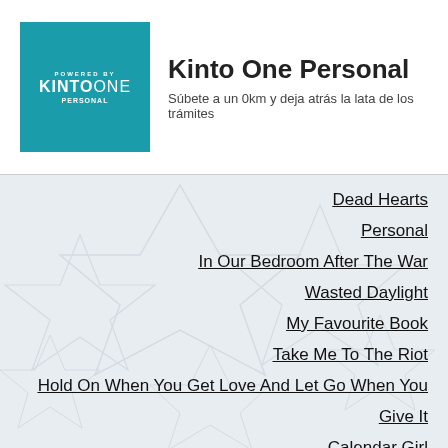[Figure (logo): Kinto One Personal advertisement banner with teal square logo and text]
Kinto One Personal
Súbete a un 0km y deja atrás la lata de los trámites
Dead Hearts
Personal
In Our Bedroom After The War
Wasted Daylight
My Favourite Book
Take Me To The Riot
Hold On When You Get Love And Let Go When You
Give It
Calendar Girl
Winter Bones
Lights Changing Colour